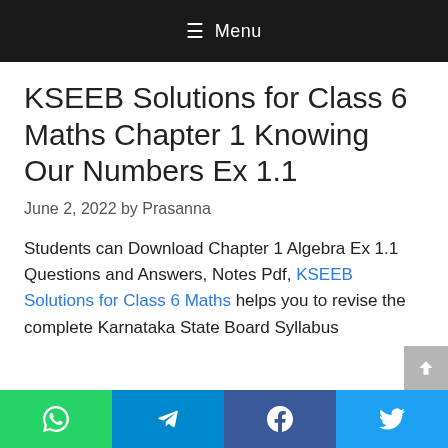☰ Menu
KSEEB Solutions for Class 6 Maths Chapter 1 Knowing Our Numbers Ex 1.1
June 2, 2022 by Prasanna
Students can Download Chapter 1 Algebra Ex 1.1 Questions and Answers, Notes Pdf, KSEEB Solutions for Class 6 Maths helps you to revise the complete Karnataka State Board Syllabus